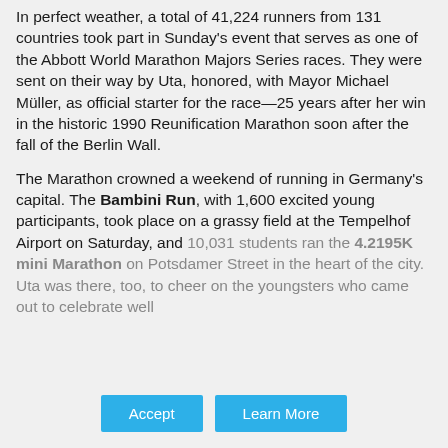In perfect weather, a total of 41,224 runners from 131 countries took part in Sunday's event that serves as one of the Abbott World Marathon Majors Series races. They were sent on their way by Uta, honored, with Mayor Michael Müller, as official starter for the race—25 years after her win in the historic 1990 Reunification Marathon soon after the fall of the Berlin Wall.
The Marathon crowned a weekend of running in Germany's capital. The Bambini Run, with 1,600 excited young participants, took place on a grassy field at the Tempelhof Airport on Saturday, and 10,031 students ran the 4.2195K mini Marathon on Potsdamer Street in the heart of the city. Uta was there, too, to cheer on the youngsters who came out to celebrate well...